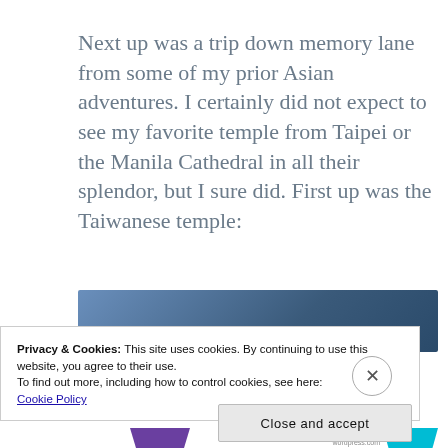Next up was a trip down memory lane from some of my prior Asian adventures. I certainly did not expect to see my favorite temple from Taipei or the Manila Cathedral in all their splendor, but I sure did. First up was the Taiwanese temple:
[Figure (photo): Blue gradient banner area, partial view of an image below the text]
Privacy & Cookies: This site uses cookies. By continuing to use this website, you agree to their use.
To find out more, including how to control cookies, see here:
Cookie Policy
Close and accept